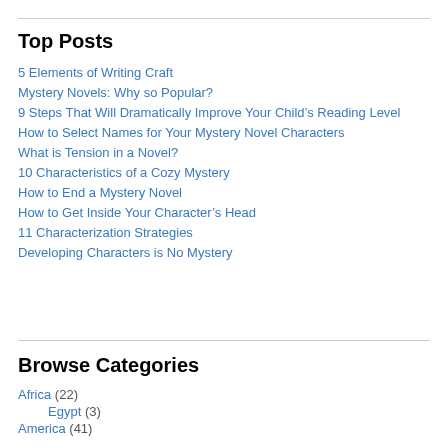Top Posts
5 Elements of Writing Craft
Mystery Novels: Why so Popular?
9 Steps That Will Dramatically Improve Your Child's Reading Level
How to Select Names for Your Mystery Novel Characters
What is Tension in a Novel?
10 Characteristics of a Cozy Mystery
How to End a Mystery Novel
How to Get Inside Your Character's Head
11 Characterization Strategies
Developing Characters is No Mystery
Browse Categories
Africa (22)
Egypt (3)
America (41)